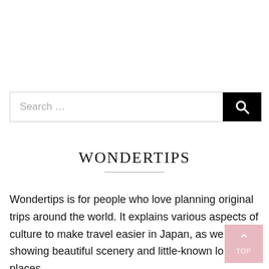[Figure (screenshot): Search bar with text 'Search ...' and a black search button with a magnifying glass icon]
WONDERTIPS
Wondertips is for people who love planning original trips around the world. It explains various aspects of culture to make travel easier in Japan, as we showing beautiful scenery and little-known lo places.